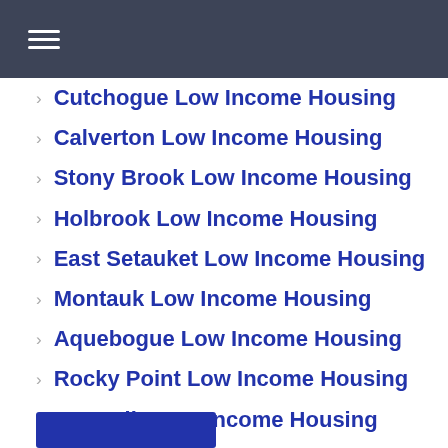Navigation menu header bar
Cutchogue Low Income Housing
Calverton Low Income Housing
Stony Brook Low Income Housing
Holbrook Low Income Housing
East Setauket Low Income Housing
Montauk Low Income Housing
Aquebogue Low Income Housing
Rocky Point Low Income Housing
East Islip Low Income Housing
West Babylon Low Income Housing